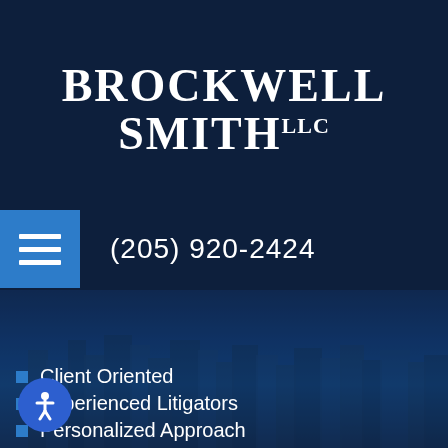[Figure (logo): Brockwell Smith LLC law firm logo in white serif text on dark navy background]
(205) 920-2424
Client Oriented
Experienced Litigators
Personalized Approach
[Figure (photo): City skyline of Birmingham Alabama with blue overlay tint]